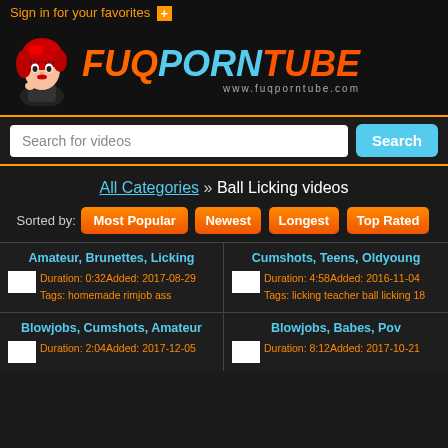Sign in for your favorites [+]
[Figure (logo): FuqPornTube logo with animated mascot girl and colorful text logo, www.fuqporntube.com]
Search for videos [Search button]
All Categories » Ball Licking videos
Sorted by: Most Popular | Newest | Longest | Top Rated
Amateur, Brunettes, Licking
Duration: 0:32 Added: 2017-08-29
Tags: homemade rimjob ass
Cumshots, Teens, Oldyoung
Duration: 4:58 Added: 2016-11-04
Tags: licking teacher ball licking 18
Blowjobs, Cumshots, Amateur
Duration: 2:04 Added: 2017-12-05
Blowjobs, Babes, Pov
Duration: 8:12 Added: 2017-10-21